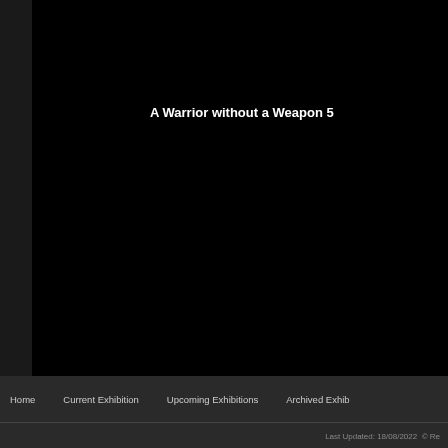[Figure (screenshot): Black background main content area of a website, mostly empty with a title in the center-upper area]
A Warrior without a Weapon 5
Home   Current Exhibition   Upcoming Exhibitions   Archived Exhib   Last Updated: 18/08/2022   © Re